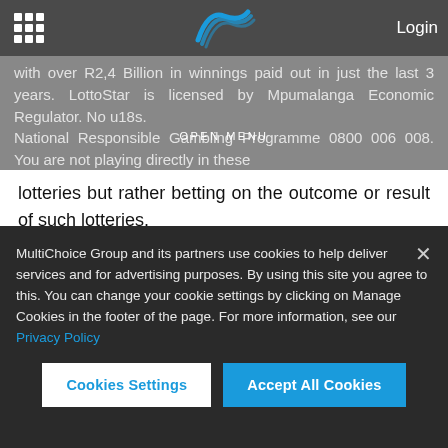with over R2,4 Billion in winnings paid out in just the last 3 years. LottoStar is licensed by Mpumalanga Economic Regulator. No u18s. National Responsible Gambling Programme 0800 006 008. You are not playing directly in these lotteries but rather betting on the outcome or result of such lotteries.
Related Content
MultiChoice Group and its partners use cookies to help deliver services and for advertising purposes. By using this site you agree to this. You can change your cookie settings by clicking on Manage Cookies in the footer of the page. For more information, see our Privacy Policy